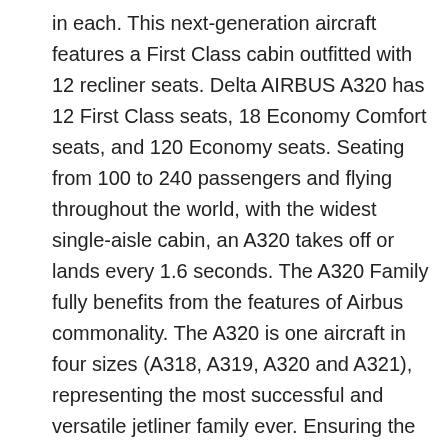in each. This next-generation aircraft features a First Class cabin outfitted with 12 recliner seats. Delta AIRBUS A320 has 12 First Class seats, 18 Economy Comfort seats, and 120 Economy seats. Seating from 100 to 240 passengers and flying throughout the world, with the widest single-aisle cabin, an A320 takes off or lands every 1.6 seconds. The A320 Family fully benefits from the features of Airbus commonality. The A320 is one aircraft in four sizes (A318, A319, A320 and A321), representing the most successful and versatile jetliner family ever. Ensuring the A320 retains its status as the best-ever aircraft, the A320neo (new engine option) is the culmination of several technological advances delivered by Airbus' continuing commitment and investment in the most successful aircraft family of all time. Airbus A320 First Class Cabin Viennaflight Picture Of However the proximity of the bulkhead for this row of even more space seats restricts the legroom. The